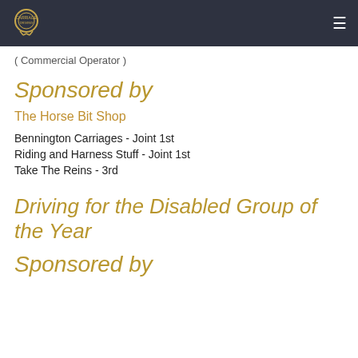[ logo ] ≡
( Commercial Operator )
Sponsored by
The Horse Bit Shop
Bennington Carriages - Joint 1st
Riding and Harness Stuff - Joint 1st
Take The Reins - 3rd
Driving for the Disabled Group of the Year
Sponsored by